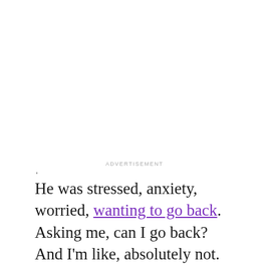ADVERTISEMENT
He was stressed, anxiety, worried, wanting to go back. Asking me, can I go back? And I'm like, absolutely not. We had big talks about what his participation can or should be. [And] It came down to him being purely an American citizen. If he had a Ukrainian passport, which he hasn't had for nearly 20 years now ...no, 30 years. He would have been asked to stay. He would have to stay. So we just got lucky with the fact that he didn't have a passport. But